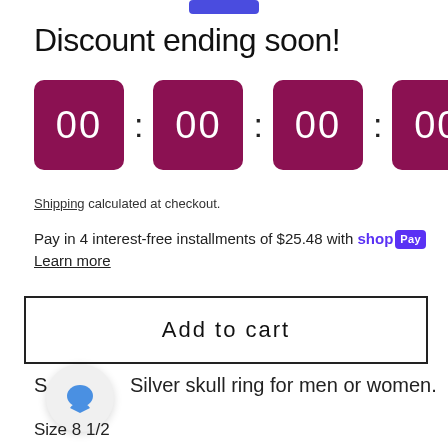Discount ending soon!
[Figure (other): Countdown timer showing 00:00:00:00 in dark pink/maroon boxes]
Shipping calculated at checkout.
Pay in 4 interest-free installments of $25.48 with shop Pay
Learn more
Add to cart
Silver skull ring for men or women.
Size 8 1/2